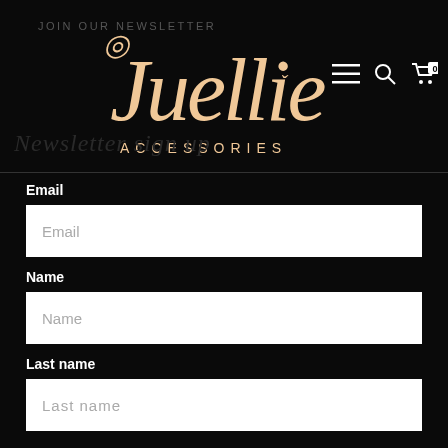JOIN OUR NEWSLETTER
[Figure (logo): Juellie Accessories script logo in tan/gold color on black background]
Newsletter sign up
Email
Name
Last name
SUBSCRIBE